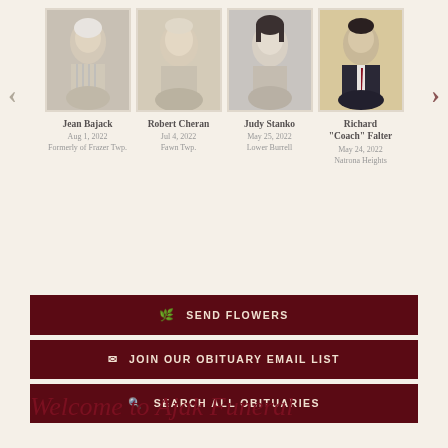[Figure (photo): Portrait photo of Jean Bajack, elderly woman]
Jean Bajack
Aug 1, 2022
Formerly of Frazer Twp.
[Figure (photo): Portrait photo of Robert Cheran, elderly man smiling]
Robert Cheran
Jul 4, 2022
Fawn Twp.
[Figure (photo): Portrait photo of Judy Stanko, woman with dark hair]
Judy Stanko
May 25, 2022
Lower Burrell
[Figure (photo): Portrait photo of Richard Coach Falter, man in suit]
Richard "Coach" Falter
May 24, 2022
Natrona Heights
✉ SEND FLOWERS
✉ JOIN OUR OBITUARY EMAIL LIST
🔍 SEARCH ALL OBITUARIES
Welcome to Ajak Funeral Home